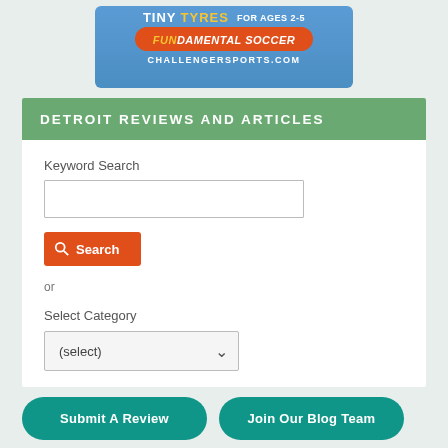[Figure (advertisement): Tiny Tyres FUNdamental Soccer ad banner for ages 2-5, challengersports.com]
DETROIT REVIEWS AND ARTICLES
Keyword Search
or
Select Category
(select)
Submit A Review
Join Our Blog Team